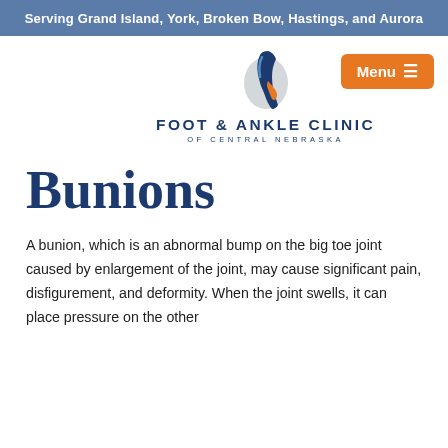Serving Grand Island, York, Broken Bow, Hastings, and Aurora
[Figure (logo): Foot & Ankle Clinic of Central Nebraska logo with stylized foot/ankle graphic in blue, orange, and gray, and clinic name below]
Bunions
A bunion, which is an abnormal bump on the big toe joint caused by enlargement of the joint, may cause significant pain, disfigurement, and deformity. When the joint swells, it can place pressure on the other